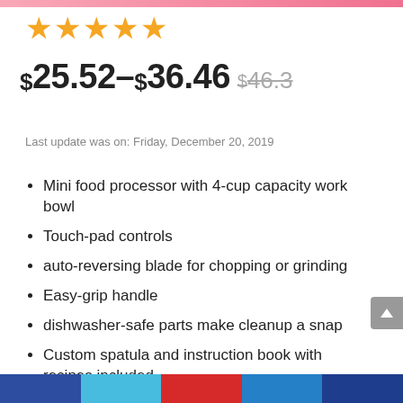★★★★★
$25.52–$36.46 $46.3
Last update was on: Friday, December 20, 2019
Mini food processor with 4-cup capacity work bowl
Touch-pad controls
auto-reversing blade for chopping or grinding
Easy-grip handle
dishwasher-safe parts make cleanup a snap
Custom spatula and instruction book with recipes included